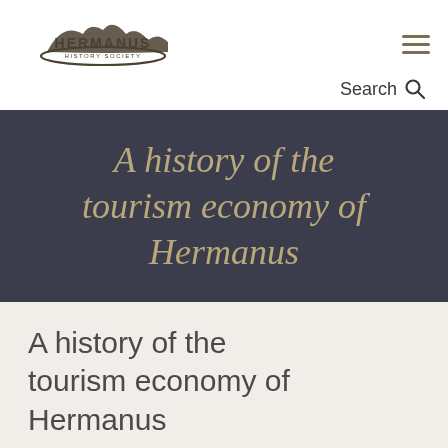[Figure (logo): Hermanus History Society logo with mountain silhouette and curved arc beneath text]
[Figure (other): Hamburger menu icon (three horizontal lines)]
Search 🔍
A history of the tourism economy of Hermanus
A history of the tourism economy of Hermanus